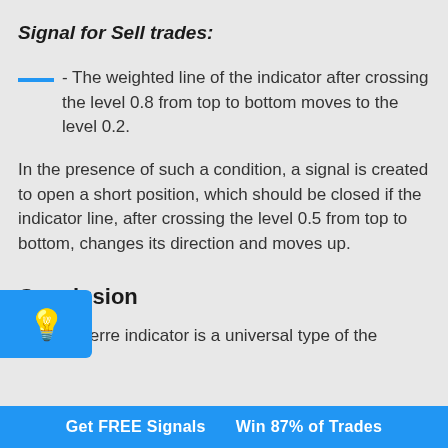Signal for Sell trades:
- The weighted line of the indicator after crossing the level 0.8 from top to bottom moves to the level 0.2.
In the presence of such a condition, a signal is created to open a short position, which should be closed if the indicator line, after crossing the level 0.5 from top to bottom, changes its direction and moves up.
Conclusion
The Laguerre indicator is a universal type of the
Get FREE Signals     Win 87% of Trades